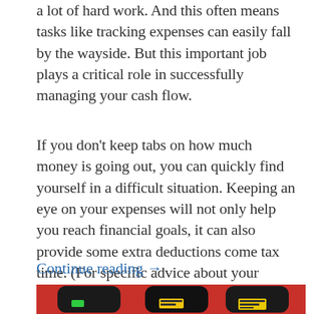a lot of hard work. And this often means tasks like tracking expenses can easily fall by the wayside. But this important job plays a critical role in successfully managing your cash flow.
If you don’t keep tabs on how much money is going out, you can quickly find yourself in a difficult situation. Keeping an eye on your expenses will not only help you reach financial goals, it can also provide some extra deductions come tax time. (For specific advice about your individual tax situation, remember to always consult a tax professional.)
Continue reading →
[Figure (photo): Photo of gas pump nozzles, showing red background with black and yellow nozzle handles]